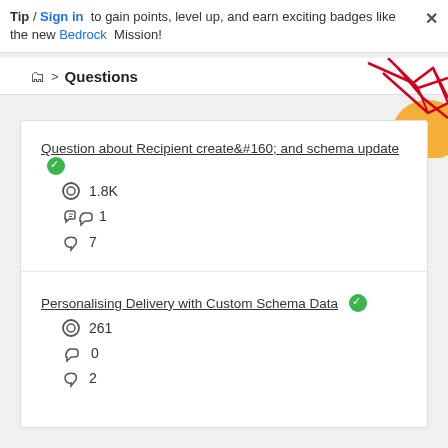Tip / Sign in to gain points, level up, and earn exciting badges like the new Bedrock Mission!
Questions
Question about Recipient create&#160; and schema update
1.8K views, 1 like, 7 replies
Personalising Delivery with Custom Schema Data
261 views, 0 likes, 2 replies